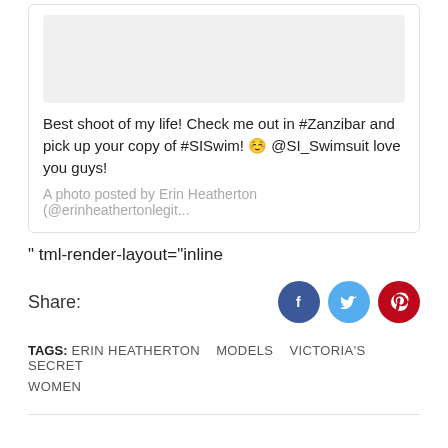[Figure (screenshot): Social media post card with image placeholder at top, post text, and attribution line]
Best shoot of my life! Check me out in #Zanzibar and pick up your copy of #SISwim! ☺️ @SI_Swimsuit love you guys!
A photo posted by Erin Heatherton (@erinheathertonlegit...
" tml-render-layout="inline
Share:
TAGS: ERIN HEATHERTON   MODELS   VICTORIA'S SECRET WOMEN